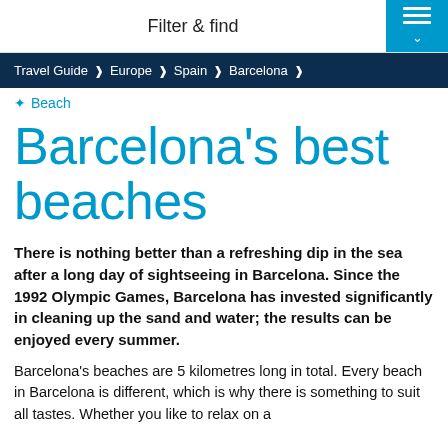Filter & find
Travel Guide > Europe > Spain > Barcelona >
Beach
Barcelona's best beaches
There is nothing better than a refreshing dip in the sea after a long day of sightseeing in Barcelona. Since the 1992 Olympic Games, Barcelona has invested significantly in cleaning up the sand and water; the results can be enjoyed every summer.
Barcelona's beaches are 5 kilometres long in total. Every beach in Barcelona is different, which is why there is something to suit all tastes. Whether you like to relax on a